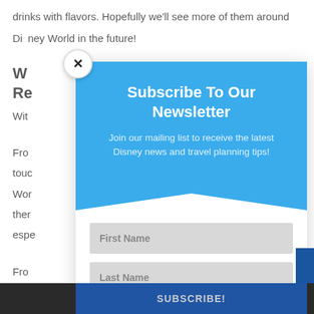drinks with flavors.  Hopefully we'll see more of them around Disney World in the future!
W... Re...
Wit...
Fro... touc... Wor... ther... espe...
Fro... opti... exce... We'...
[Figure (screenshot): Newsletter subscription modal overlay with blue header reading 'Subscribe To Our Newsletter', subtext 'Join our mailing list to receive the latest Disney news and travel planning tips!', and form fields for First Name, Last Name, and Email. A close (X) button in top-left corner. Bottom bar shows 'Share This' with chevron and 'SUBSCRIBE!' button.]